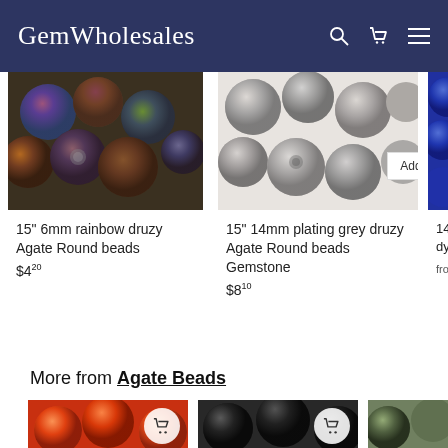GemWholesales
[Figure (photo): Rainbow druzy agate round beads, dark iridescent spheres clustered together]
15" 6mm rainbow druzy Agate Round beads
$4.20
[Figure (photo): Grey druzy agate round beads, matte grey spheres]
15" 14mm plating grey druzy Agate Round beads Gemstone
$8.10
[Figure (photo): Blue beads, partially visible on right edge]
14.5" 2x4 color dyed faceted g
from $4.30
More from Agate Beads
[Figure (photo): Orange/red carnelian agate round beads]
[Figure (photo): Black matte agate round beads]
[Figure (photo): Mixed color agate beads, green and brown tones]